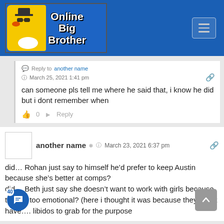[Figure (logo): Online Big Brother website header with logo (rubber duck with sunglasses and hat) and hamburger menu button on blue background]
Reply to another name
March 25, 2021 1:41 pm
can someone pls tell me where he said that, i know he did but i dont remember when
👍 0   ➤ Reply
another name   March 23, 2021 6:37 pm
did… Rohan just say to himself he'd prefer to keep Austin because she's better at comps?
did… Beth just say she doesn't want to work with girls because they're too emotional? (here i thought it was because they didn't have…. libidos to grab for the purpose